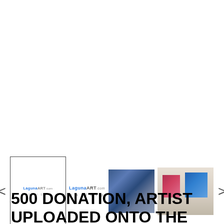[Figure (illustration): A gallery image carousel/slider showing four thumbnails: 1) A framed logo box with 'LagunaART.com' text, 2) Text-only thumbnail reading 'LagunaART.com gallery', 3) A photo of a crowd at an art event, 4) A photo of a gallery room with artworks on the walls. Left and right navigation arrows flank the thumbnails.]
500 DONATION, ARTIST UPLOADED ONTO THE NON-PROFIT WEBSITE